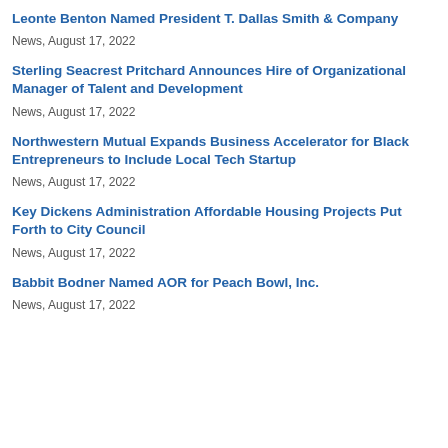Leonte Benton Named President T. Dallas Smith & Company
News, August 17, 2022
Sterling Seacrest Pritchard Announces Hire of Organizational Manager of Talent and Development
News, August 17, 2022
Northwestern Mutual Expands Business Accelerator for Black Entrepreneurs to Include Local Tech Startup
News, August 17, 2022
Key Dickens Administration Affordable Housing Projects Put Forth to City Council
News, August 17, 2022
Babbit Bodner Named AOR for Peach Bowl, Inc.
News, August 17, 2022